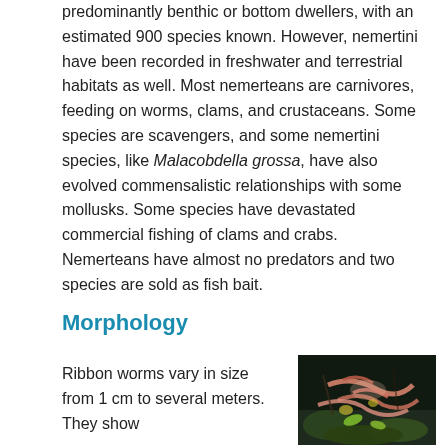Most species of phylum Nemertea are mainly, predominantly benthic or bottom dwellers, with an estimated 900 species known. However, nemertini have been recorded in freshwater and terrestrial habitats as well. Most nemerteans are carnivores, feeding on worms, clams, and crustaceans. Some species are scavengers, and some nemertini species, like Malacobdella grossa, have also evolved commensalistic relationships with some mollusks. Some species have devastated commercial fishing of clams and crabs. Nemerteans have almost no predators and two species are sold as fish bait.
Morphology
Ribbon worms vary in size from 1 cm to several meters. They show
[Figure (photo): A photograph showing ribbon worms, appearing pinkish/reddish organisms on a dark background with some green vegetation visible.]